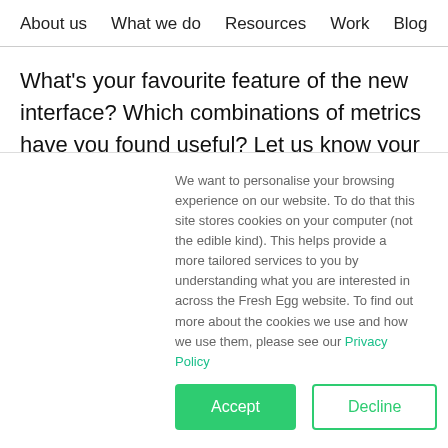About us   What we do   Resources   Work   Blog
What's your favourite feature of the new interface? Which combinations of metrics have you found useful? Let us know your thoughts about the new reporting interface in the comments box below.

If you'd like more information about the new reporting interface, or anything related to Biddable
We want to personalise your browsing experience on our website. To do that this site stores cookies on your computer (not the edible kind). This helps provide a more tailored services to you by understanding what you are interested in across the Fresh Egg website. To find out more about the cookies we use and how we use them, please see our Privacy Policy
Accept   Decline